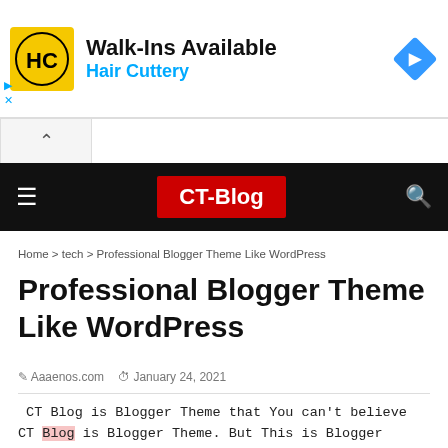[Figure (illustration): Hair Cuttery advertisement banner with yellow logo, 'Walk-Ins Available' heading, 'Hair Cuttery' subtitle in blue, and a blue diamond-shaped arrow icon on the right.]
CT-Blog
Home > tech > Professional Blogger Theme Like WordPress
Professional Blogger Theme Like WordPress
Aaaenos.com  January 24, 2021
CT Blog is Blogger Theme that You can't believe CT Blog is Blogger Theme. But This is Blogger Theme.......